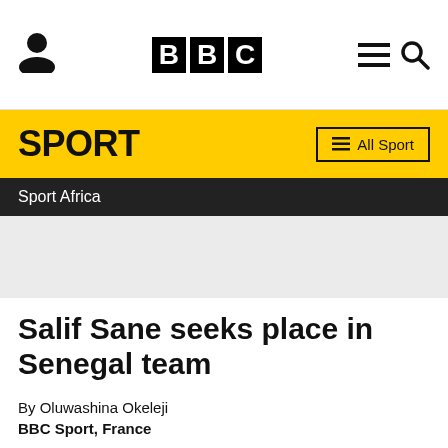BBC Sport
SPORT
Sport Africa
[Figure (photo): Grey placeholder image area]
Salif Sane seeks place in Senegal team
By Oluwashina Okeleji
BBC Sport, France
25 September 2012 | Football